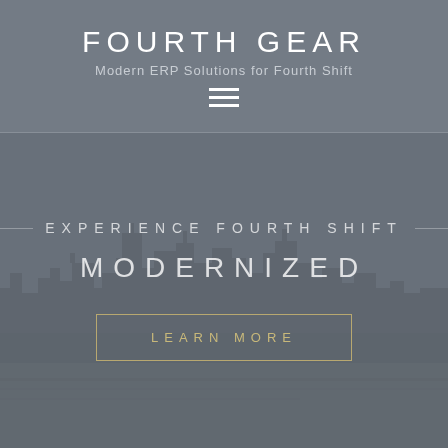FOURTH GEAR
Modern ERP Solutions for Fourth Shift
[Figure (other): Hamburger menu icon (three horizontal white lines)]
[Figure (illustration): Dark grey hero section with faint city skyline silhouette in the background]
EXPERIENCE FOURTH SHIFT
MODERNIZED
LEARN MORE